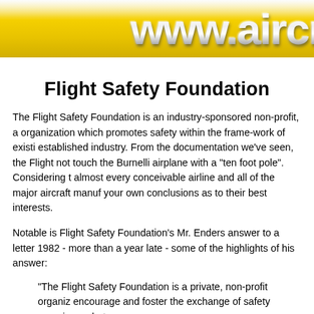[Figure (screenshot): Yellow and gold gradient banner with metallic chrome text reading 'www.aircrash' (partially visible, cut off at right edge)]
Flight Safety Foundation
The Flight Safety Foundation is an industry-sponsored non-profit, a organization which promotes safety within the frame-work of existing established industry. From the documentation we've seen, the Flight not touch the Burnelli airplane with a "ten foot pole". Considering t almost every conceivable airline and all of the major aircraft manuf your own conclusions as to their best interests.
Notable is Flight Safety Foundation's Mr. Enders answer to a letter 1982 - more than a year late - some of the highlights of his answer:
"The Flight Safety Foundation is a private, non-profit organiz encourage and foster the exchange of safety experience, bet